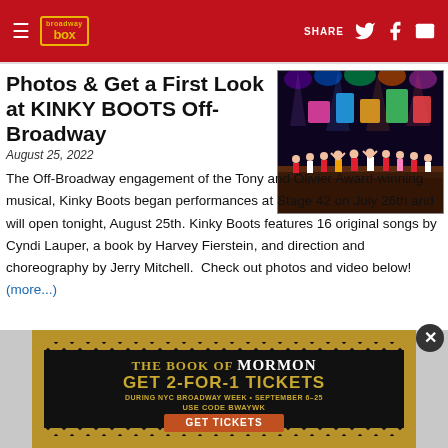Broadway Box — SHARE (Twitter, Facebook, Email)
Photos & Get a First Look at KINKY BOOTS Off-Broadway
August 25, 2022
[Figure (photo): Stage photo of Kinky Boots Off-Broadway production showing cast on stage with colorful lighting]
The Off-Broadway engagement of the Tony and Olivier Award-winning musical, Kinky Boots began performances at Stage 42 on July 26th and will open tonight, August 25th. Kinky Boots features 16 original songs by Cyndi Lauper, a book by Harvey Fierstein, and direction and choreography by Jerry Mitchell.  Check out photos and video below!  (more...)
[Figure (infographic): Advertisement for The Book of Mormon: GET 2-FOR-1 TICKETS DURING NYC BROADWAY WEEK • SEPTEMBER 6-25 USE CODE BWAYWK — GET TICKETS]